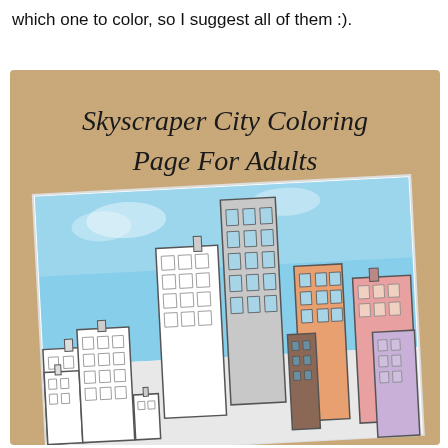which one to color, so I suggest all of them :).
[Figure (illustration): A sketchbook-style image on a tan/kraft paper background showing a coloring page titled 'Skyscraper City Coloring Page For Adults' in handwritten script. The coloring page inside shows several illustrated skyscrapers against a blue sky background, some colored (gray, orange, pink, lavender, brown) and some uncolored/outline only.]